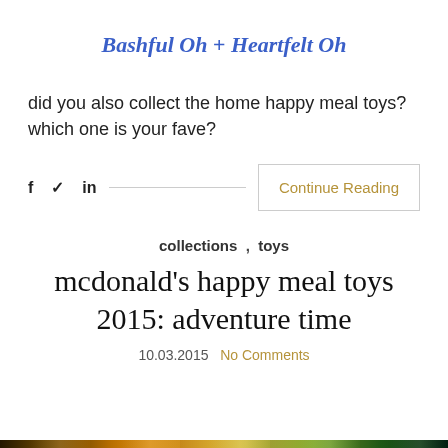Bashful Oh + Heartfelt Oh
did you also collect the home happy meal toys? which one is your fave?
f  y  in  Continue Reading
collections , toys
mcdonald's happy meal toys 2015: adventure time
10.03.2015  No Comments
[Figure (photo): Partial view of colorful McDonald's Happy Meal toys photo at the bottom of the page]